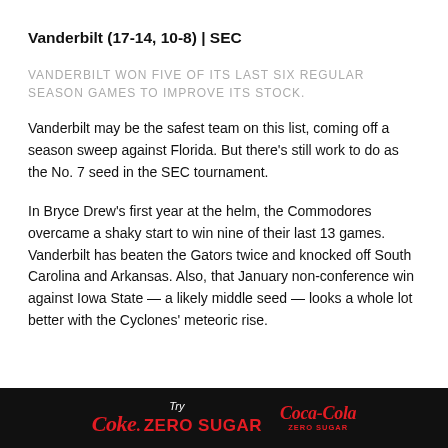Vanderbilt (17-14, 10-8) | SEC
VANDERBILT WON FIVE OF ITS LAST SIX REGULAR SEASON GAMES TO IMPROVE ITS STOCK.
Vanderbilt may be the safest team on this list, coming off a season sweep against Florida. But there's still work to do as the No. 7 seed in the SEC tournament.
In Bryce Drew's first year at the helm, the Commodores overcame a shaky start to win nine of their last 13 games. Vanderbilt has beaten the Gators twice and knocked off South Carolina and Arkansas. Also, that January non-conference win against Iowa State — a likely middle seed — looks a whole lot better with the Cyclones' meteoric rise.
[Figure (infographic): Coca-Cola Zero Sugar advertisement banner — black background with 'Try Coke ZERO SUGAR' in red and white text and Coca-Cola Zero Sugar logo]